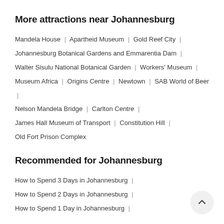More attractions near Johannesburg
Mandela House | Apartheid Museum | Gold Reef City | Johannesburg Botanical Gardens and Emmarentia Dam | Walter Sisulu National Botanical Garden | Workers' Museum | Museum Africa | Origins Centre | Newtown | SAB World of Beer | Nelson Mandela Bridge | Carlton Centre | James Hall Museum of Transport | Constitution Hill | Old Fort Prison Complex
Recommended for Johannesburg
How to Spend 3 Days in Johannesburg | How to Spend 2 Days in Johannesburg | How to Spend 1 Day in Johannesburg |